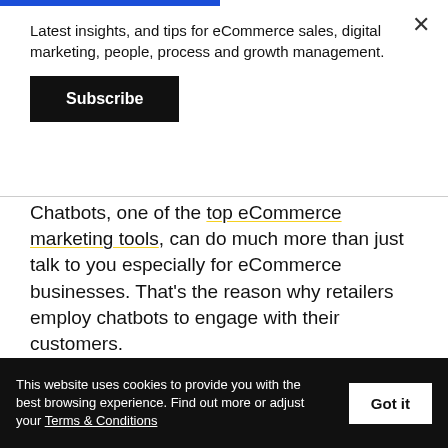Latest insights, and tips for eCommerce sales, digital marketing, people, process and growth management.
Subscribe
Chatbots, one of the top eCommerce marketing tools, can do much more than just talk to you especially for eCommerce businesses. That's the reason why retailers employ chatbots to engage with their customers.
Which Industries Have US Internet Users Used Chatbots to Engage with?
% of respondents, April 2019
[Figure (bar-chart): Which Industries Have US Internet Users Used Chatbots to Engage with?]
This website uses cookies to provide you with the best browsing experience. Find out more or adjust your Terms & Conditions
Got it